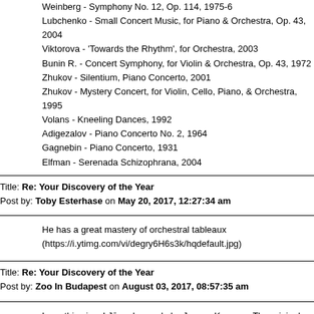Weinberg - Symphony No. 12, Op. 114, 1975-6
Lubchenko - Small Concert Music, for Piano & Orchestra, Op. 43, 2004
Viktorova - 'Towards the Rhythm', for Orchestra, 2003
Bunin R. - Concert Symphony, for Violin & Orchestra, Op. 43, 1972
Zhukov - Silentium, Piano Concerto, 2001
Zhukov - Mystery Concert, for Violin, Cello, Piano, & Orchestra, 1995
Volans - Kneeling Dances, 1992
Adigezalov - Piano Concerto No. 2, 1964
Gagnebin - Piano Concerto, 1931
Elfman - Serenada Schizophrana, 2004
Title: Re: Your Discovery of the Year
Post by: Toby Esterhase on May 20, 2017, 12:27:34 am
He has a great mastery of orchestral tableaux (https://i.ytimg.com/vi/degry6H6s3k/hqdefault.jpg)
Title: Re: Your Discovery of the Year
Post by: Zoo In Budapest on August 03, 2017, 08:57:35 am
Love this piece! Jūros Legenda by Juozas Karosas. The original record and Olga Šteinbergaitė
https://www.youtube.com/watch?v=2_Y_f-b0L30
Title: Re: Your Discovery of the Year